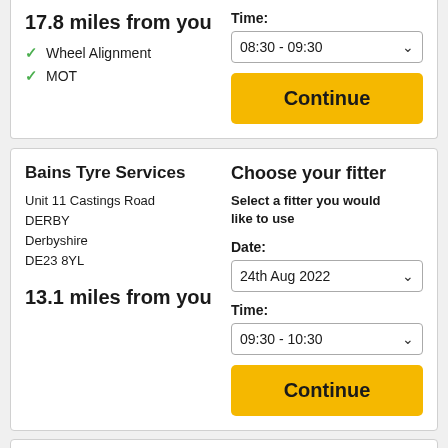17.8 miles from you
✓ Wheel Alignment
✓ MOT
Time:
08:30 - 09:30
Continue
Bains Tyre Services
Unit 11 Castings Road
DERBY
Derbyshire
DE23 8YL
13.1 miles from you
Choose your fitter
Select a fitter you would like to use
Date:
24th Aug 2022
Time:
09:30 - 10:30
Continue